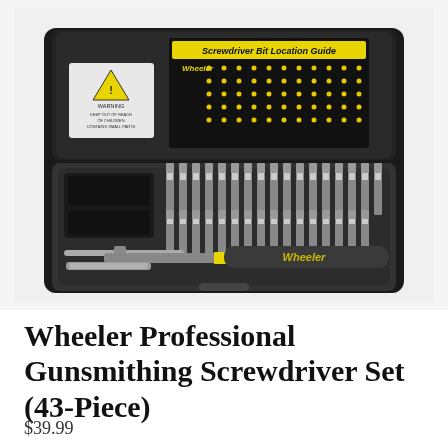[Figure (photo): Wheeler Professional Gunsmithing Screwdriver Set (43-Piece) shown open in its black plastic carrying case. The lid interior shows a 'Screwdriver Bit Location Guide' label with Wheeler branding and a warning sticker. The base of the case holds multiple rows of steel screwdriver bits organized in holders, a black handle extension, a T-bar handle extension, and a gray/black rubberized handle with yellow accent stripe branded 'Wheeler'.]
Wheeler Professional Gunsmithing Screwdriver Set (43-Piece)
$39.99